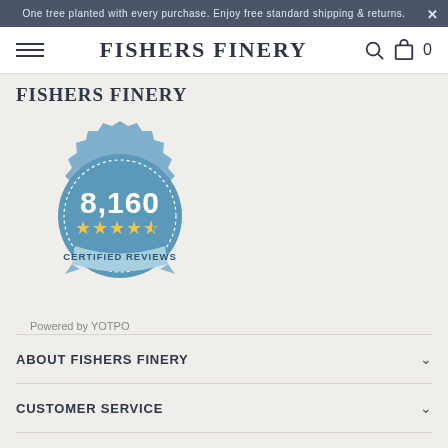One tree planted with every purchase. Enjoy free standard shipping & returns.
FISHERS FINERY | Search | Cart 0
FISHERS FINERY
[Figure (other): Blue seal/badge with '8,160' in large text, 4.5 gold stars, and ribbon saying 'CERTIFIED REVIEWS'. Powered by YOTPO.]
Powered by YOTPO
ABOUT FISHERS FINERY
CUSTOMER SERVICE
HELPFUL INFORMATION
Underst...
EMAIL ME WHEN AVAILABLE